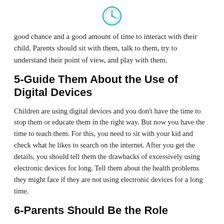[Figure (illustration): Teal/cyan clock icon centered at top of page]
good chance and a good amount of time to interact with their child. Parents should sit with them, talk to them, try to understand their point of view, and play with them.
5-Guide Them About the Use of Digital Devices
Children are using digital devices and you don't have the time to stop them or educate them in the right way. But now you have the time to teach them. For this, you need to sit with your kid and check what he likes to search on the internet. After you get the details, you should tell them the drawbacks of excessively using electronic devices for long. Tell them about the health problems they might face if they are not using electronic devices for a long time.
6-Parents Should Be the Role